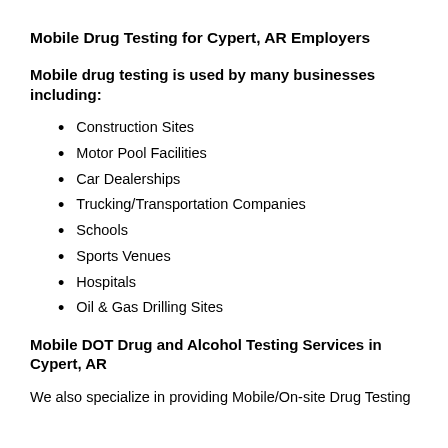Mobile Drug Testing for Cypert, AR Employers
Mobile drug testing is used by many businesses including:
Construction Sites
Motor Pool Facilities
Car Dealerships
Trucking/Transportation Companies
Schools
Sports Venues
Hospitals
Oil & Gas Drilling Sites
Mobile DOT Drug and Alcohol Testing Services in Cypert, AR
We also specialize in providing Mobile/On-site Drug Testing